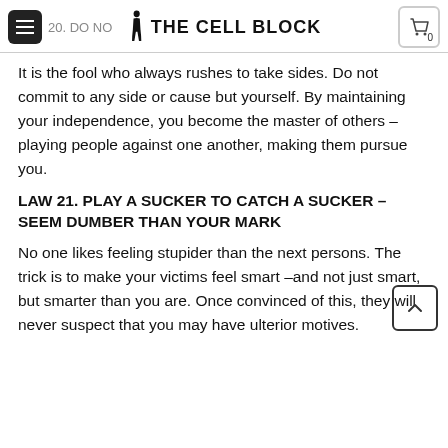THE CELL BLOCK
It is the fool who always rushes to take sides. Do not commit to any side or cause but yourself. By maintaining your independence, you become the master of others – playing people against one another, making them pursue you.
LAW 21. PLAY A SUCKER TO CATCH A SUCKER – SEEM DUMBER THAN YOUR MARK
No one likes feeling stupider than the next persons. The trick is to make your victims feel smart –and not just smart, but smarter than you are. Once convinced of this, they will never suspect that you may have ulterior motives.